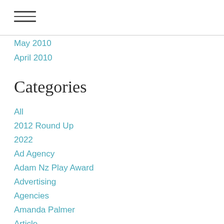May 2010
April 2010
Categories
All
2012 Round Up
2022
Ad Agency
Adam Nz Play Award
Advertising
Agencies
Amanda Palmer
Article
Art Of The Envelope Awards
Auckland Uni
Big On Writing
Billboards